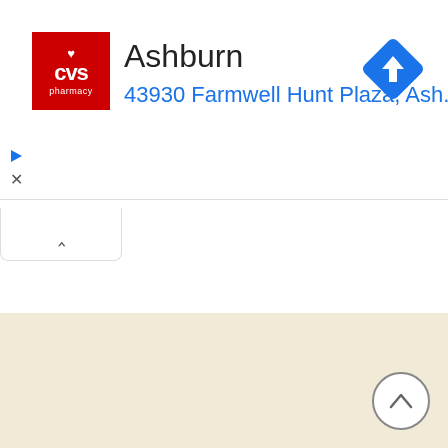[Figure (screenshot): CVS Pharmacy logo: red square with white heart symbol, CVS text, and pharmacy text below]
Ashburn
43930 Farmwell Hunt Plaza, Ash..
[Figure (other): Blue diamond navigation/directions icon with white right-turn arrow]
[Figure (other): Blue play triangle button]
X
[Figure (other): Collapse tab with upward chevron arrow]
[Figure (map): Map area with beige/tan background color (partial map view)]
[Figure (other): Scroll-up circular button with upward chevron arrow]